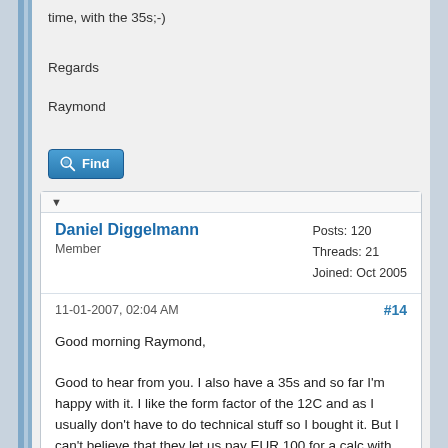time, with the 35s;-)
Regards
Raymond
[Figure (other): Find button with magnifying glass icon]
▼
Daniel Diggelmann
Member
Posts: 120
Threads: 21
Joined: Oct 2005
11-01-2007, 02:04 AM
#14
Good morning Raymond,

Good to hear from you. I also have a 35s and so far I'm happy with it. I like the form factor of the 12C and as I usually don't have to do technical stuff so I bought it. But I can't believe that they let us pay EUR 100 for a calc with such design flaws which are not present on any 5$ crappy noname calc. I feel